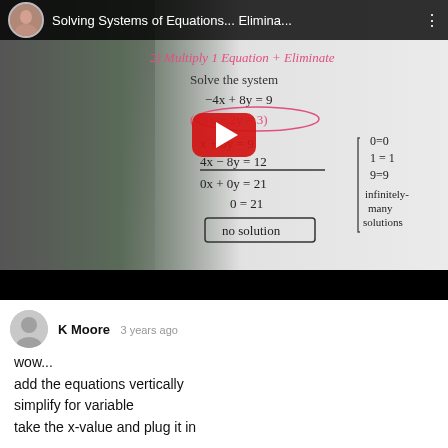[Figure (screenshot): YouTube video thumbnail showing a woman teaching math in front of a whiteboard. The whiteboard shows: '2) Multiply 1 Equation + Eliminate', 'Solve the system', '-4x + 8y = 9', '(4)(x - 2y = 3)', then steps showing 'x + 8y = 9', '4x - 8y = 12', '0x + 0y = 21', '0 = 21', 'no solution', and to the right '0=0, 1=1, 9=9, infinitely many solutions'. A large red YouTube play button is overlaid. The top bar shows a circular avatar and title 'Solving Systems of Equations... Elimina...']
K Moore  3 years ago
wow...
add the equations vertically
simplify for variable
take the x-value and plug it in